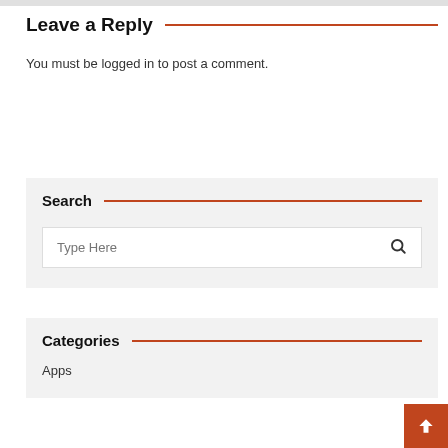Leave a Reply
You must be logged in to post a comment.
Search
Type Here
Categories
Apps